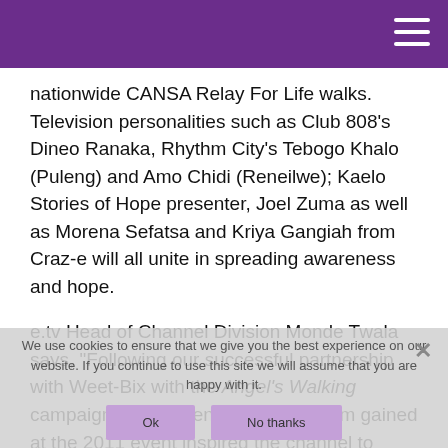nationwide CANSA Relay For Life walks. Television personalities such as Club 808’s Dineo Ranaka, Rhythm City’s Tebogo Khalo (Puleng) and Amo Chidi (Reneilwe); Kaelo Stories of Hope presenter, Joel Zuma as well as Morena Sefatsa and Kriya Gangiah from Craz-e will all unite in spreading awareness and hope.
e.tv Head of Channel Division Monde Twala says, “Following our successful partnership with Weet-Bix with the Angel’s Walking campaign, the tremendous momentum gained at the 2011 event inspired the channel to broaden its reach beyond Johannesburg. We identified Relay For Life as the perfect catalyst to spread national awareness not only to big urban areas but also to the smallest and most remote communities...”